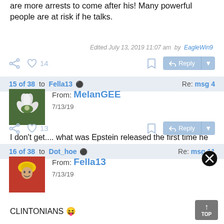are more arrests to come after his!  Many powerful people are at risk if he talks.
Edited July 13, 2019 11:07 am  by  EagleWin9
15 of 38 to Fella13 ✔  Re: msg 4
From: MelanGEE
7/13/19
I don't get.... what was Epstein released the first time he was arrested?
16 of 38 to Dot_hoe ✔  Re: msg 11
From: Fella13
7/13/19
CLINTONIANS 😝